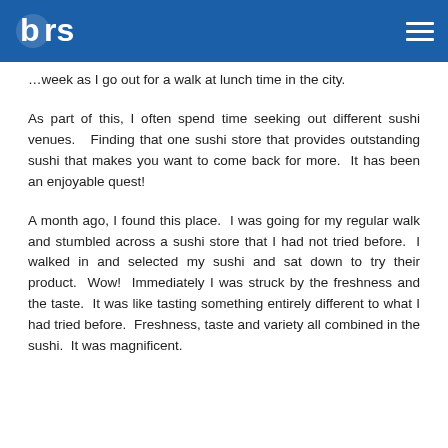brs [logo]
…week as I go out for a walk at lunch time in the city.
As part of this, I often spend time seeking out different sushi venues. Finding that one sushi store that provides outstanding sushi that makes you want to come back for more. It has been an enjoyable quest!
A month ago, I found this place. I was going for my regular walk and stumbled across a sushi store that I had not tried before. I walked in and selected my sushi and sat down to try their product. Wow! Immediately I was struck by the freshness and the taste. It was like tasting something entirely different to what I had tried before. Freshness, taste and variety all combined in the sushi. It was magnificent.